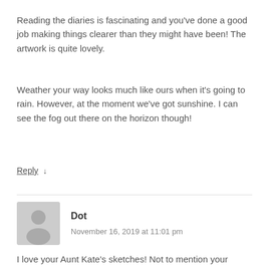Reading the diaries is fascinating and you’ve done a good job making things clearer than they might have been! The artwork is quite lovely.
Weather your way looks much like ours when it’s going to rain. However, at the moment we’ve got sunshine. I can see the fog out there on the horizon though!
Reply ↓
Dot
November 16, 2019 at 11:01 pm
I love your Aunt Kate’s sketches! Not to mention your incredible skies.